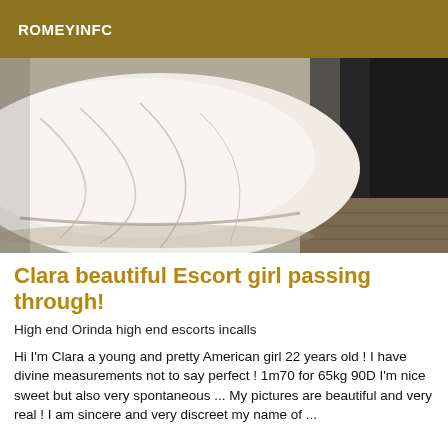ROMEYINFC
[Figure (photo): Close-up photo of a white pillow on a dark bed, with dark fabric/sheet visible on the right side and a wooden floor visible at the bottom right.]
Clara beautiful Escort girl passing through!
High end Orinda high end escorts incalls
Hi I'm Clara a young and pretty American girl 22 years old ! I have divine measurements not to say perfect ! 1m70 for 65kg 90D I'm nice sweet but also very spontaneous ... My pictures are beautiful and very real ! I am sincere and very discreet my name of ...